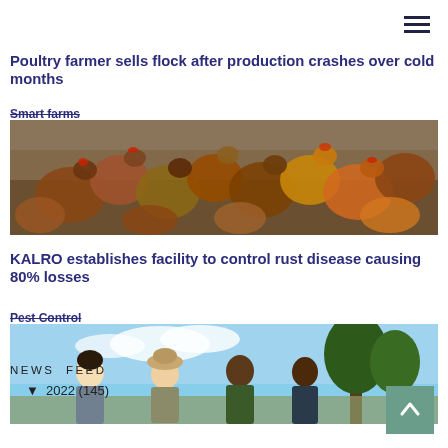Poultry farmer sells flock after production crashes over cold months
Smart farms
[Figure (photo): Large flock of chickens crowded together, various brown and orange plumaged birds viewed from above/side]
KALRO establishes facility to control rust disease causing 80% losses
Pest Control
[Figure (photo): Three people standing outdoors, two appear to be researchers or extension workers, one local farmer, with trees in background]
NEWS FEED
▼  2022 (145)